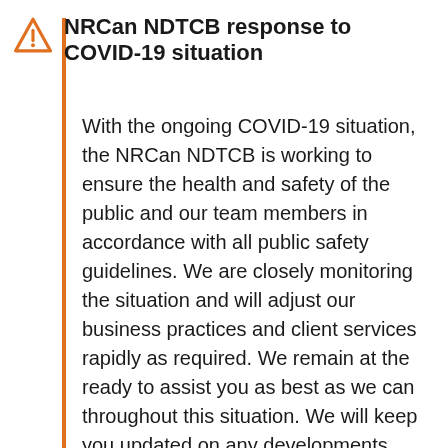NRCan NDTCB response to COVID-19 situation
With the ongoing COVID-19 situation, the NRCan NDTCB is working to ensure the health and safety of the public and our team members in accordance with all public safety guidelines. We are closely monitoring the situation and will adjust our business practices and client services rapidly as required. We remain at the ready to assist you as best as we can throughout this situation. We will keep you updated on any developments